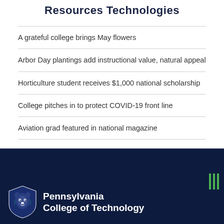Resources Technologies
A grateful college brings May flowers
Arbor Day plantings add instructional value, natural appeal
Horticulture student receives $1,000 national scholarship
College pitches in to protect COVID-19 front line
Aviation grad featured in national magazine
[Figure (logo): Pennsylvania College of Technology lion shield logo with white text on dark navy background]